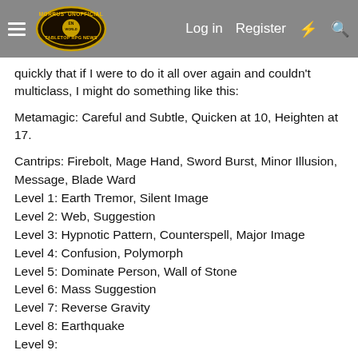Morrus' Unofficial Tabletop RPG News | Log in | Register
quickly that if I were to do it all over again and couldn't multiclass, I might do something like this:
Metamagic: Careful and Subtle, Quicken at 10, Heighten at 17.
Cantrips: Firebolt, Mage Hand, Sword Burst, Minor Illusion, Message, Blade Ward
Level 1: Earth Tremor, Silent Image
Level 2: Web, Suggestion
Level 3: Hypnotic Pattern, Counterspell, Major Image
Level 4: Confusion, Polymorph
Level 5: Dominate Person, Wall of Stone
Level 6: Mass Suggestion
Level 7: Reverse Gravity
Level 8: Earthquake
Level 9: Wish and something